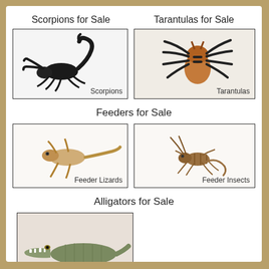Scorpions for Sale
[Figure (photo): Photo of a scorpion with text label 'Scorpions']
Tarantulas for Sale
[Figure (photo): Photo of a tarantula with text label 'Tarantulas']
Feeders for Sale
[Figure (photo): Photo of a feeder lizard with text label 'Feeder Lizards']
[Figure (photo): Photo of a feeder insect/cricket with text label 'Feeder Insects']
Alligators for Sale
[Figure (photo): Photo of a crocodilian with text label 'Crocodilians']